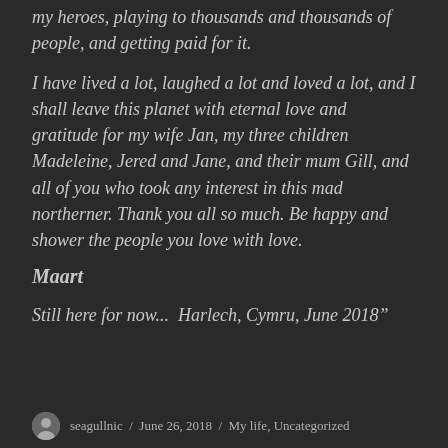my heroes, playing to thousands and thousands of people, and getting paid for it.
I have lived a lot, laughed a lot and loved a lot, and I shall leave this planet with eternal love and gratitude for my wife Jan, my three children Madeleine, Jered and Jane, and their mum Gill, and all of you who took any interest in this mad northerner. Thank you all so much. Be happy and shower the people you love with love.
Maart
Still here for now...  Harlech, Cymru, June 2018”
seagullnic / June 26, 2018 / My life, Uncategorized